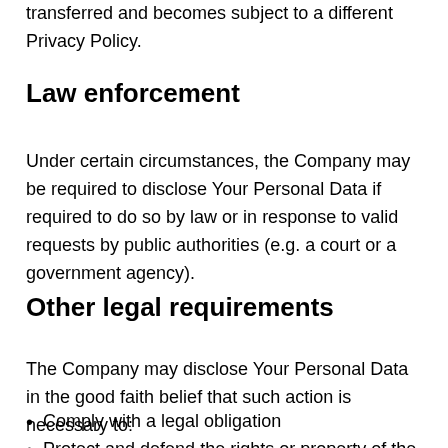transferred and becomes subject to a different Privacy Policy.
Law enforcement
Under certain circumstances, the Company may be required to disclose Your Personal Data if required to do so by law or in response to valid requests by public authorities (e.g. a court or a government agency).
Other legal requirements
The Company may disclose Your Personal Data in the good faith belief that such action is necessary to:
Comply with a legal obligation
Protect and defend the rights or property of the